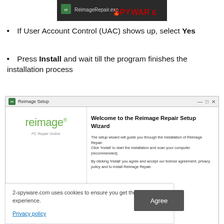[Figure (screenshot): Screenshot showing ReimageRepair.exe file with SPYWARE watermark on dark background]
If User Account Control (UAC) shows up, select Yes
Press Install and wait till the program finishes the installation process
[Figure (screenshot): Reimage Setup wizard window showing 'Welcome to the Reimage Repair Setup Wizard' with reimage PC Repair Online logo on left and setup instructions on right. Cookie consent banner overlay at bottom reading '2-spyware.com uses cookies to ensure you get the best experience.' with Privacy policy link and Agree button.]